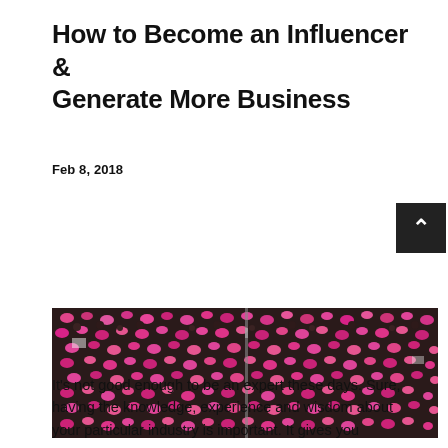How to Become an Influencer & Generate More Business
Feb 8, 2018
[Figure (photo): Aerial view of a large crowd of people, many wearing pink hats, at a public gathering or march.]
It's not good enough to be an expert these days. Sure, having the knowledge, experience and wisdom about your particular industry is important. It gives you credibility and audience and they will...